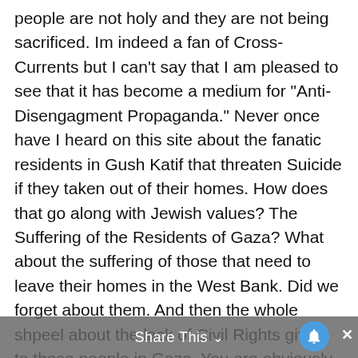people are not holy and they are not being sacrificed. Im indeed a fan of Cross-Currents but I can't say that I am pleased to see that it has become a medium for "Anti-Disengagment Propaganda." Never once have I heard on this site about the fanatic residents in Gush Katif that threaten Suicide if they taken out of their homes. How does that go along with Jewish values? The Suffering of the Residents of Gaza? What about the suffering of those that need to leave their homes in the West Bank. Did we forget about them. And then the whole shpeel about the lack of Civil Rights given to those people in Gaza. You are obviously using this as a means to get some MORE simpathy from your readers. Civil liberties are an issue and a problem with everyone not only the
Share This